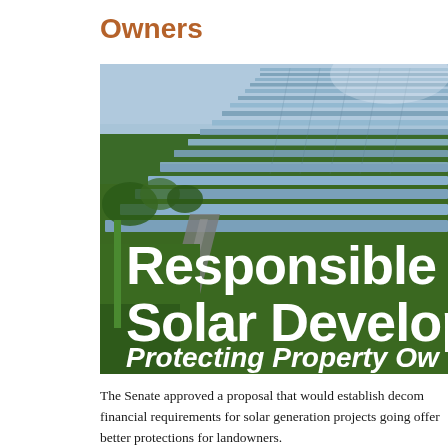Owners
[Figure (photo): Aerial photograph of a large solar panel farm next to a road through green fields, with overlaid bold white text reading 'Responsible Solar Developm...' and italic white text reading 'Protecting Property Ow...' and a green vertical bar accent on the left side of the text.]
The Senate approved a proposal that would establish decom financial requirements for solar generation projects going offer better protections for landowners.